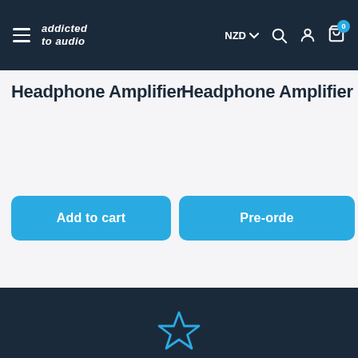addicted to audio — NZD navigation bar with cart, search, and account icons
Headphone Amplifier
Headphone Amplifier
Add to cart
Pre-orde...
[Figure (illustration): Star icon outline in light blue color]
Full New Zealand warranty
Carousel dots: three dots, middle one active